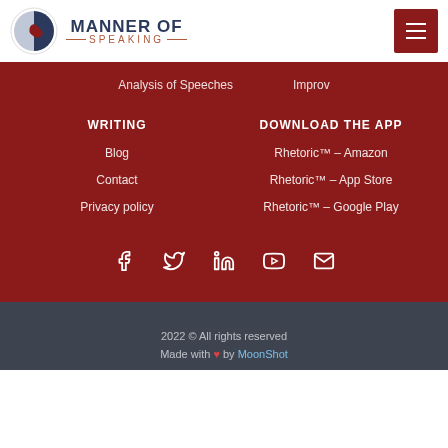MANNER OF SPEAKING
Analysis of Speeches
Improv
WRITING
DOWNLOAD THE APP
Blog
Rhetoric™ – Amazon
Contact
Rhetoric™ – App Store
Privacy policy
Rhetoric™ – Google Play
[Figure (infographic): Social media icons row: Facebook, Twitter, LinkedIn, YouTube, Email]
2022 © All rights reserved
Made with ❤ by MoonShot